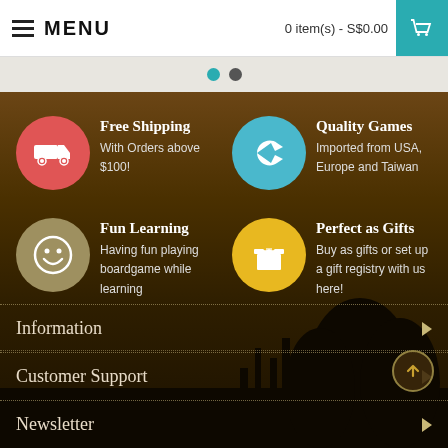MENU  |  0 item(s) - S$0.00
[Figure (screenshot): Navigation dot indicators: one teal dot and one gray dot]
[Figure (infographic): Four feature icons on dark background: Free Shipping (red circle, truck icon), Quality Games (teal circle, plane icon), Fun Learning (khaki circle, smiley icon), Perfect as Gifts (yellow circle, gift box icon)]
Free Shipping
With Orders above $100!
Quality Games
Imported from USA, Europe and Taiwan
Fun Learning
Having fun playing boardgame while learning
Perfect as Gifts
Buy as gifts or set up a gift registry with us here!
Information
Customer Support
Newsletter